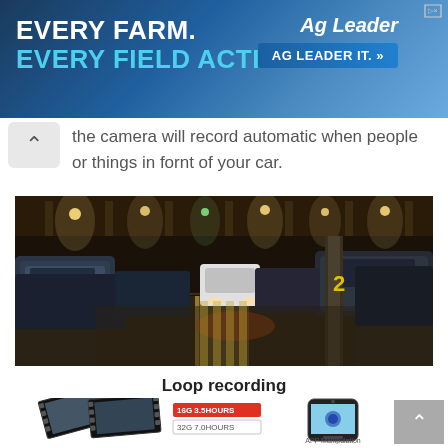[Figure (photo): Advertisement banner for Ag Leader with dark blue background, text 'EVERY FARM. EVERY FIELD ACTIVITY.' in white and cyan, Ag Leader logo and 'AG LEADER IT.' button on right]
the camera will record automatic when people or things in fornt of your car.
[Figure (photo): Underground parking garage photo showing cars parked in dimly lit structure with lights overhead and number 2 marking on a pillar]
Loop recording
[Figure (infographic): Film strip illustration showing loop recording footage with labels '16G 3.5HOURS' and '32G 7.0HOURS', alongside a smartphone showing app interface labeled 'APP Manipulation']